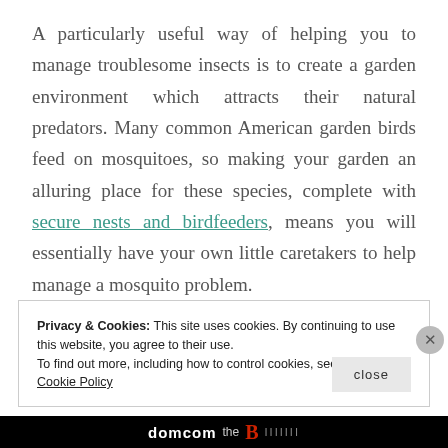A particularly useful way of helping you to manage troublesome insects is to create a garden environment which attracts their natural predators. Many common American garden birds feed on mosquitoes, so making your garden an alluring place for these species, complete with secure nests and birdfeeders, means you will essentially have your own little caretakers to help manage a mosquito problem.
Privacy & Cookies: This site uses cookies. By continuing to use this website, you agree to their use.
To find out more, including how to control cookies, see here: Our Cookie Policy